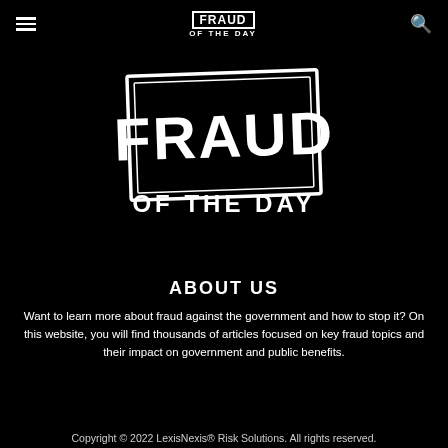FRAUD OF THE DAY
[Figure (logo): Fraud of the Day logo — large white distressed text reading FRAUD inside a rectangular border, with OF THE DAY below in bold white letters, on black background]
ABOUT US
Want to learn more about fraud against the government and how to stop it? On this website, you will find thousands of articles focused on key fraud topics and their impact on government and public benefits.
Copyright © 2022 LexisNexis® Risk Solutions. All rights reserved.